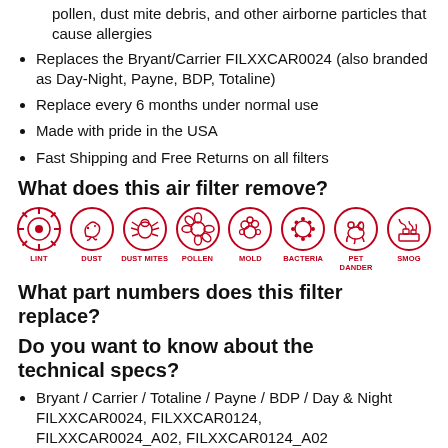pollen, dust mite debris, and other airborne particles that cause allergies
Replaces the Bryant/Carrier FILXXCAR0024 (also branded as Day-Night, Payne, BDP, Totaline)
Replace every 6 months under normal use
Made with pride in the USA
Fast Shipping and Free Returns on all filters
What does this air filter remove?
[Figure (infographic): Eight red circle icons representing what the filter removes: Lint, Dust, Dust Mites, Pollen, Mold, Bacteria, Pet Dander, Smog]
What part numbers does this filter replace?
Do you want to know about the technical specs?
Bryant / Carrier / Totaline / Payne / BDP / Day & Night FILXXCAR0024, FILXXCAR0124, FILXXCAR0024_A02, FILXXCAR0124_A02